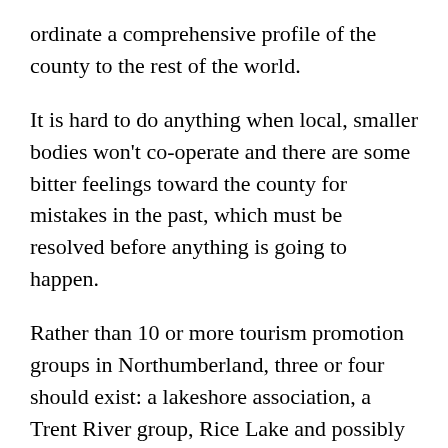ordinate a comprehensive profile of the county to the rest of the world.
It is hard to do anything when local, smaller bodies won't co-operate and there are some bitter feelings toward the county for mistakes in the past, which must be resolved before anything is going to happen.
Rather than 10 or more tourism promotion groups in Northumberland, three or four should exist: a lakeshore association, a Trent River group, Rice Lake and possibly another. Centralized, co-ordinated programs should be adopted both information and money should be shared.
This is not a new idea. But it comes back to power, as